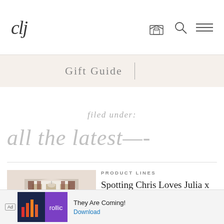clj
Gift Guide
filed under:
all the latest—-
PRODUCT LINES
Spotting Chris Loves Julia x Loloi Rugs in the Wild |
[Figure (photo): Interior room viewed through an arched doorway, showing a living space with tall windows, dark curtains, and furniture]
Ad They Are Coming! Download